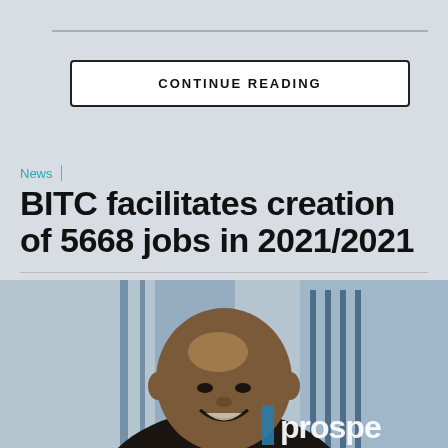CONTINUE READING
News
BITC facilitates creation of 5668 jobs in 2021/2021
By Rearabilwe Ramaphane 29th August 2022
[Figure (photo): Portrait photo of a smiling bald man in front of a building with 'prospe' text visible in background]